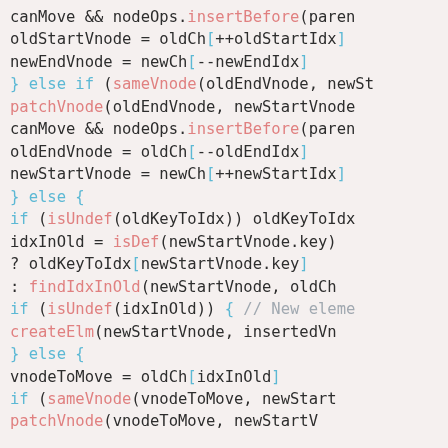[Figure (screenshot): Code editor screenshot showing JavaScript virtual DOM diffing algorithm snippet with syntax highlighting. Keywords in blue, function names in pink/salmon, regular code in dark gray, on a light pinkish-gray background.]